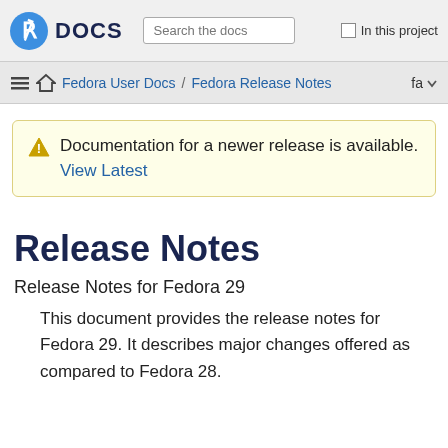Fedora DOCS | Search the docs | In this project
Fedora User Docs / Fedora Release Notes  fa
Documentation for a newer release is available. View Latest
Release Notes
Release Notes for Fedora 29
This document provides the release notes for Fedora 29. It describes major changes offered as compared to Fedora 28.